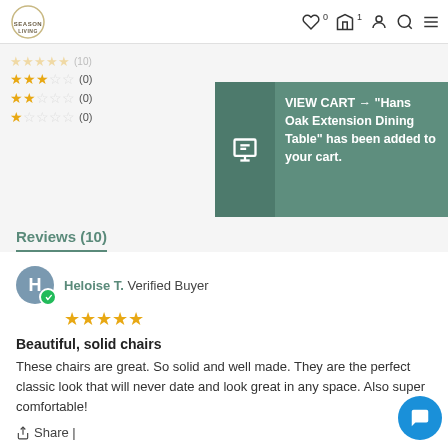[Figure (screenshot): Website navigation bar with SeasonLiving logo, wishlist, cart (1 item), account, search, and menu icons]
[Figure (infographic): Star rating rows showing 3-star (0), 2-star (0), 1-star (0) ratings]
[Figure (screenshot): Green cart notification overlay: VIEW CART → 'Hans Oak Extension Dining Table' has been added to your cart.]
Reviews (10)
Heloise T. Verified Buyer
Beautiful, solid chairs
These chairs are great. So solid and well made. They are the perfect classic look that will never date and look great in any space. Also super comfortable!
Share |
02/08/22
[Figure (infographic): Thumbs up icon with count 1]